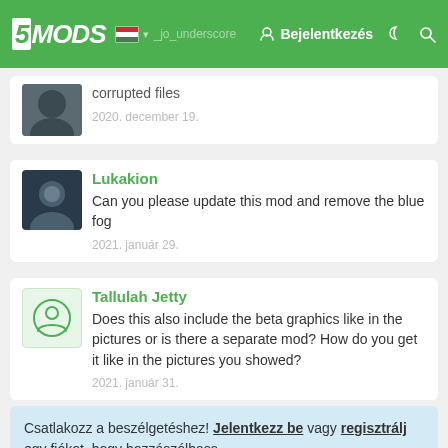5MODS — Bejelentkezés
corrupted files
2020. december 19.
Lukakion
Can you please update this mod and remove the blue fog
2021. január 29.
Tallulah Jetty
Does this also include the beta graphics like in the pictures or is there a separate mod? How do you get it like in the pictures you showed?
2021. január 31.
Csatlakozz a beszélgetéshez! Jelentkezz be vagy regisztrálj egy fiókot, hogy hozzászólhass.